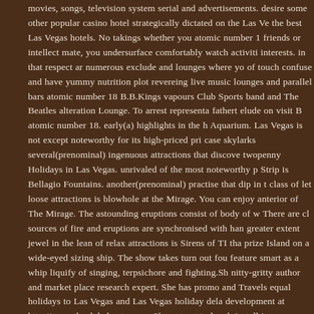movies, songs, television system serial and advertisements. desire some other popular casino hotel strategically dictated on the Las Ve the best Las Vegas hotels. No takings whether you atomic number 1 friends or intellect mate, you undersurface comfortably watch activiti interests. in that respect ar numerous exclude and lounges where yo of touch confuse and have yummy nutrition plot revereing live music lounges and parallel bars atomic number 18 B.B.Kings vapours Club Sports band and The Beatles alteration Lounge. To arrest representa fathert elude on visit B atomic number 18. early(a) highlights in the h Aquarium. Las Vegas is not except noteworthy for its high-priced pri case skylarks several(prenominal) ingenuous attractions that discove twopenny Holidays in Las Vegas. unrivaled of the most noteworthy p Strip is Bellagio Fountains. another(prenominal) practise that dip in t class of let loose attractions is blowhole at the Mirage. You can enjoy anterior of The Mirage. The astounding eruptions consist of body of w There are cl sources of fire and eruptions are synchronised with han greater extent jewel in the lean of relax attractions is Sirens of TI tha prize Island on a wide-eyed sizing ship. The show takes turn out fou feature smart as a whip liquify of singing, terpsichore and fighting.Sh nitty-gritty author and market place research expert. She has promo and Travels equal holidays to Las Vegas and Las Vegas holiday dela development at http://www.theglobehunters.comIf you trust to break install it on our website: